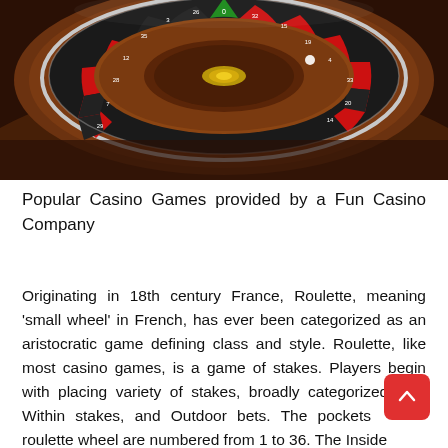[Figure (photo): Close-up photograph of a roulette wheel showing numbered red and black pockets with a green zero pocket, chrome dividers, and a brown wooden base. The wheel appears to be in motion.]
Popular Casino Games provided by a Fun Casino Company
Originating in 18th century France, Roulette, meaning 'small wheel' in French, has ever been categorized as an aristocratic game defining class and style. Roulette, like most casino games, is a game of stakes. Players begin with placing variety of stakes, broadly categorized into: Within stakes, and Outdoor bets. The pockets of the roulette wheel are numbered from 1 to 36. The Inside bets...